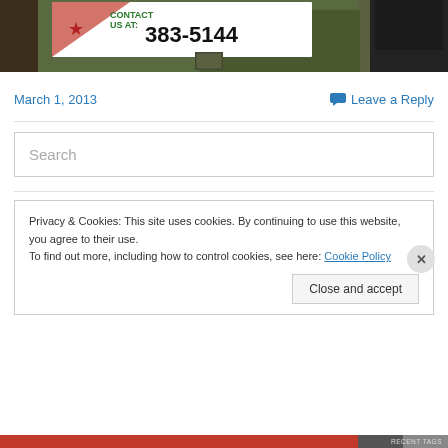[Figure (photo): Photo showing a banner/sign with text 'CONTACT US AT: 383-5144' with a red star, against a tree/foliage background, with a person in a black leather jacket on the right]
March 1, 2013
Leave a Reply
Search
Privacy & Cookies: This site uses cookies. By continuing to use this website, you agree to their use.
To find out more, including how to control cookies, see here: Cookie Policy
Close and accept